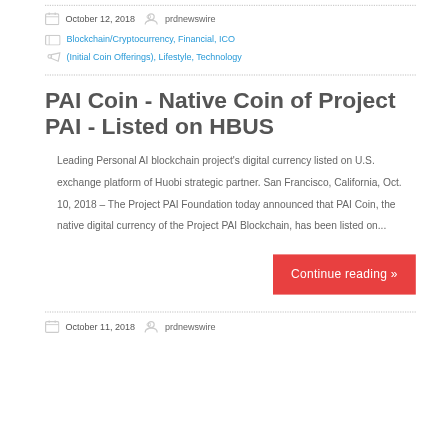October 12, 2018   prdnewswire
Blockchain/Cryptocurrency, Financial, ICO (Initial Coin Offerings), Lifestyle, Technology
PAI Coin - Native Coin of Project PAI - Listed on HBUS
Leading Personal AI blockchain project's digital currency listed on U.S. exchange platform of Huobi strategic partner. San Francisco, California, Oct. 10, 2018 – The Project PAI Foundation today announced that PAI Coin, the native digital currency of the Project PAI Blockchain, has been listed on...
Continue reading »
October 11, 2018   prdnewswire